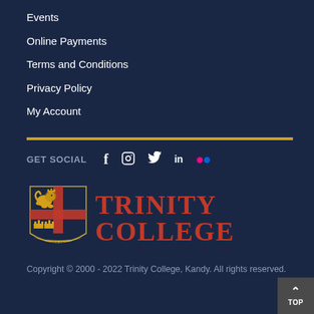Events
Online Payments
Terms and Conditions
Privacy Policy
My Account
GET SOCIAL
[Figure (logo): Trinity College Kandy logo with crest (lion, crosses, crowns) and red bold text TRINITY COLLEGE]
Copyright © 2000 - 2022 Trinity College, Kandy. All rights reserved.